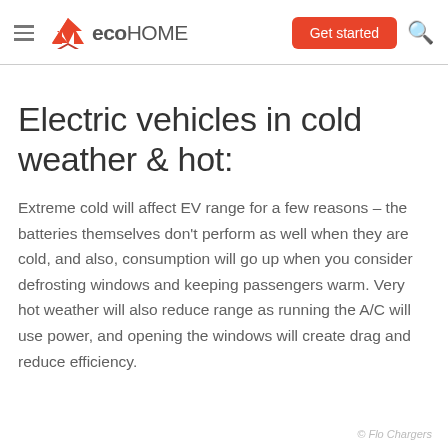eco HOME — Get started
Electric vehicles in cold weather & hot:
Extreme cold will affect EV range for a few reasons – the batteries themselves don't perform as well when they are cold, and also, consumption will go up when you consider defrosting windows and keeping passengers warm. Very hot weather will also reduce range as running the A/C will use power, and opening the windows will create drag and reduce efficiency.
© Flo Chargers